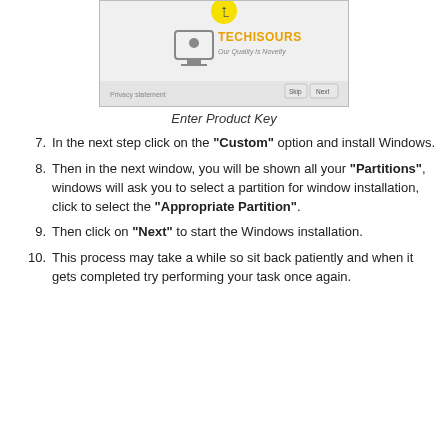[Figure (screenshot): Screenshot of a Windows product key entry dialog showing the TECHISOURS logo and tagline 'Our Quality is Novelty', with Privacy statement, Skip, and Next buttons at the bottom.]
Enter Product Key
In the next step click on the "Custom" option and install Windows.
Then in the next window, you will be shown all your "Partitions", windows will ask you to select a partition for window installation, click to select the "Appropriate Partition".
Then click on "Next" to start the Windows installation.
This process may take a while so sit back patiently and when it gets completed try performing your task once again.